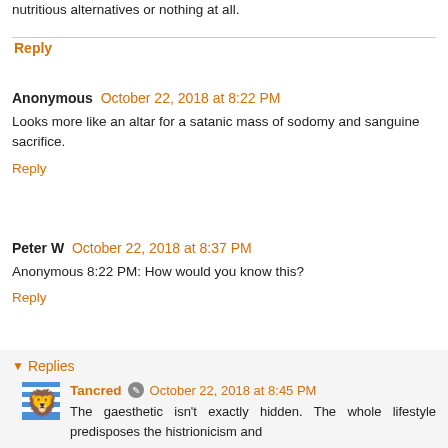nutritious alternatives or nothing at all.
Reply
Anonymous  October 22, 2018 at 8:22 PM
Looks more like an altar for a satanic mass of sodomy and sanguine sacrifice.
Reply
Peter W  October 22, 2018 at 8:37 PM
Anonymous 8:22 PM: How would you know this?
Reply
Replies
Tancred  October 22, 2018 at 8:45 PM
The gaesthetic isn't exactly hidden. The whole lifestyle predisposes the histrionicism and